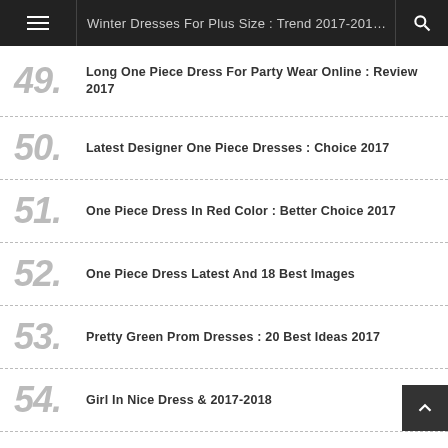Winter Dresses For Plus Size : Trend 2017-2018
49. Long One Piece Dress For Party Wear Online : Review 2017
50. Latest Designer One Piece Dresses : Choice 2017
51. One Piece Dress In Red Color : Better Choice 2017
52. One Piece Dress Latest And 18 Best Images
53. Pretty Green Prom Dresses : 20 Best Ideas 2017
54. Girl In Nice Dress & 2017-2018